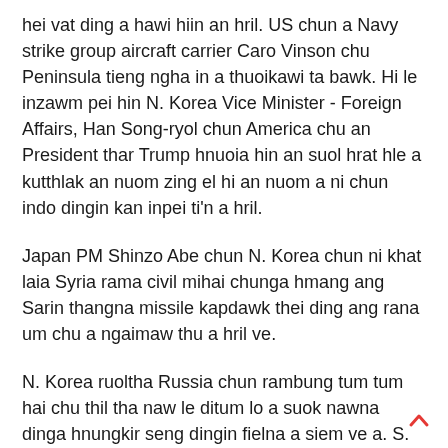hei vat ding a hawi hiin an hril. US chun a Navy strike group aircraft carrier Caro Vinson chu Peninsula tieng ngha in a thuoikawi ta bawk. Hi le inzawm pei hin N. Korea Vice Minister - Foreign Affairs, Han Song-ryol chun America chu an President thar Trump hnuoia hin an suol hrat hle a kutthlak an nuom zing el hi an nuom a ni chun indo dingin kan inpei ti'n a hril.
Japan PM Shinzo Abe chun N. Korea chun ni khat laia Syria rama civil mihai chunga hmang ang Sarin thangna missile kapdawk thei ding ang rana um chu a ngaimaw thu a hril ve.
N. Korea ruoltha Russia chun rambung tum tum hai chu thil tha naw le ditum lo a suok nawna dinga hnungkir seng dingin fielna a siem ve a. S. Korea, US ruoltha khawma US chun Peninsula hmuna indopui